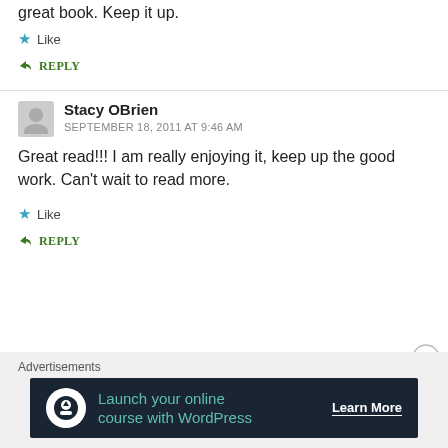great book. Keep it up.
Like
REPLY
Stacy OBrien
SEPTEMBER 18, 2011 AT 9:46 AM
Great read!!! I am really enjoying it, keep up the good work. Can't wait to read more.
Like
REPLY
Advertisements
[Figure (infographic): Advertisement banner: Launch your online course with WordPress — Learn More button]